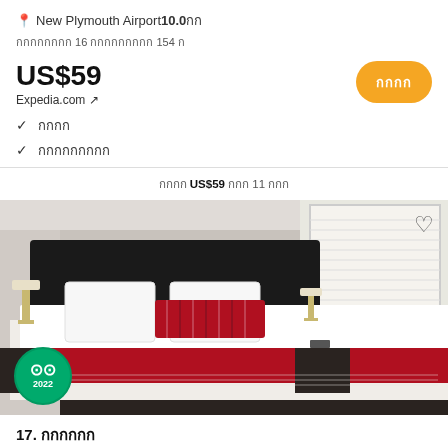📍 New Plymouth Airport 10.0km
กกกกกกกก 16 กกกกกกกกก 154 ก
US$59
Expedia.com ↗
✓ กกกก
✓ กกกกกกกกก
กกกก US$59 กกก 11 กกก
[Figure (photo): Hotel room with a double bed, dark headboard, white and red bedding, lamp on bedside tables, and a window with blinds. TripAdvisor 2022 badge visible in bottom-left corner.]
17. กกกกกก